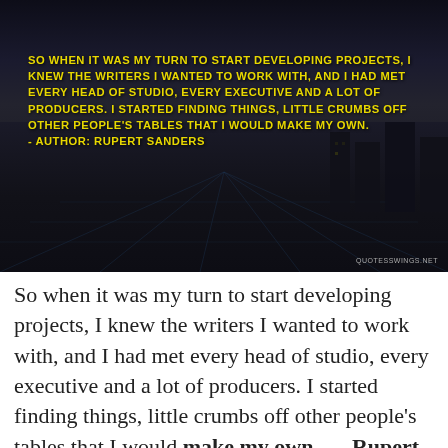[Figure (photo): Dark aerial cityscape at night/dusk with dramatic cloudy sky. Overlaid with a quote in bold yellow uppercase text: 'SO WHEN IT WAS MY TURN TO START DEVELOPING PROJECTS, I KNEW THE WRITERS I WANTED TO WORK WITH, AND I HAD MET EVERY HEAD OF STUDIO, EVERY EXECUTIVE AND A LOT OF PRODUCERS. I STARTED FINDING THINGS, LITTLE CRUMBS OFF OTHER PEOPLE'S TABLES THAT I WOULD MAKE MY OWN. - AUTHOR: RUPERT SANDERS'. Watermark 'QUOTESSWINGS.NET' in bottom right.]
So when it was my turn to start developing projects, I knew the writers I wanted to work with, and I had met every head of studio, every executive and a lot of producers. I started finding things, little crumbs off other people's tables that I would make my own. — Rupert Sanders